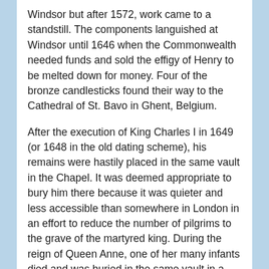Windsor but after 1572, work came to a standstill. The components languished at Windsor until 1646 when the Commonwealth needed funds and sold the effigy of Henry to be melted down for money. Four of the bronze candlesticks found their way to the Cathedral of St. Bavo in Ghent, Belgium.
After the execution of King Charles I in 1649 (or 1648 in the old dating scheme), his remains were hastily placed in the same vault in the Chapel. It was deemed appropriate to bury him there because it was quieter and less accessible than somewhere in London in an effort to reduce the number of pilgrims to the grave of the martyred king. During the reign of Queen Anne, one of her many infants died and was buried in the same vault in a tiny coffin. In 1805, the sarcophagus that had been Wolsey's and Henry's was taken and used as the base of Lord Nelson's